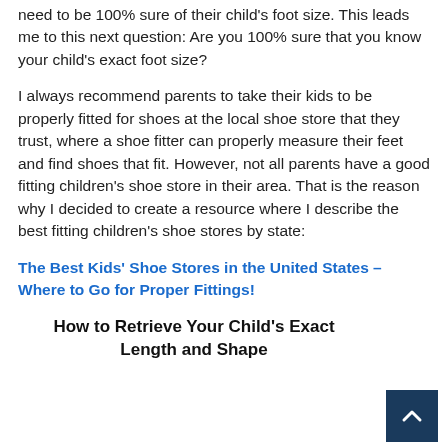need to be 100% sure of their child's foot size. This leads me to this next question: Are you 100% sure that you know your child's exact foot size?
I always recommend parents to take their kids to be properly fitted for shoes at the local shoe store that they trust, where a shoe fitter can properly measure their feet and find shoes that fit. However, not all parents have a good fitting children's shoe store in their area. That is the reason why I decided to create a resource where I describe the best fitting children's shoe stores by state:
The Best Kids' Shoe Stores in the United States – Where to Go for Proper Fittings!
How to Retrieve Your Child's Exact Length and Shape